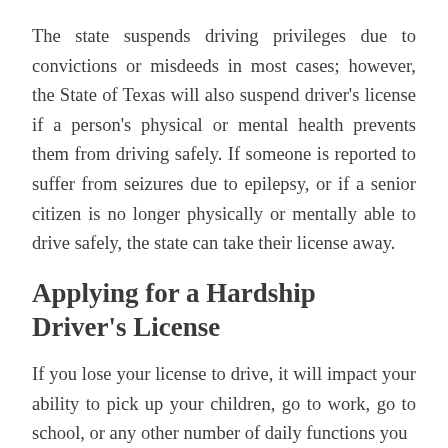The state suspends driving privileges due to convictions or misdeeds in most cases; however, the State of Texas will also suspend driver's license if a person's physical or mental health prevents them from driving safely. If someone is reported to suffer from seizures due to epilepsy, or if a senior citizen is no longer physically or mentally able to drive safely, the state can take their license away.
Applying for a Hardship Driver's License
If you lose your license to drive, it will impact your ability to pick up your children, go to work, go to school, or any other number of daily functions you